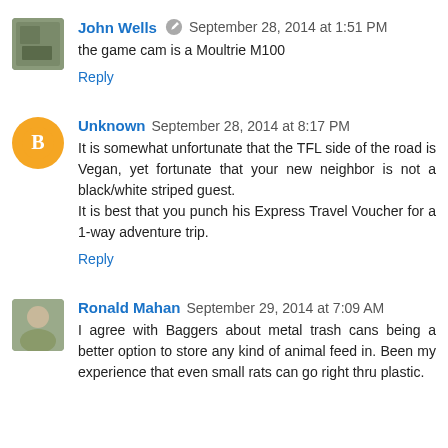John Wells · September 28, 2014 at 1:51 PM
the game cam is a Moultrie M100
Reply
Unknown · September 28, 2014 at 8:17 PM
It is somewhat unfortunate that the TFL side of the road is Vegan, yet fortunate that your new neighbor is not a black/white striped guest. It is best that you punch his Express Travel Voucher for a 1-way adventure trip.
Reply
Ronald Mahan · September 29, 2014 at 7:09 AM
I agree with Baggers about metal trash cans being a better option to store any kind of animal feed in. Been my experience that even small rats can go right thru plastic.